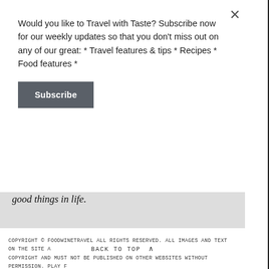Would you like to Travel with Taste? Subscribe now for our weekly updates so that you don't miss out on any of our great: * Travel features & tips * Recipes * Food features *
Subscribe
good things in life.
Christine Salins &
Maurie O'Connor
COPYRIGHT © FOODWINETRAVEL ALL RIGHTS RESERVED. ALL IMAGES AND TEXT ON THE SITE ARE COPYRIGHT AND MUST NOT BE PUBLISHED ON OTHER WEBSITES WITHOUT PERMISSION. PLAY F
BACK TO TOP ^